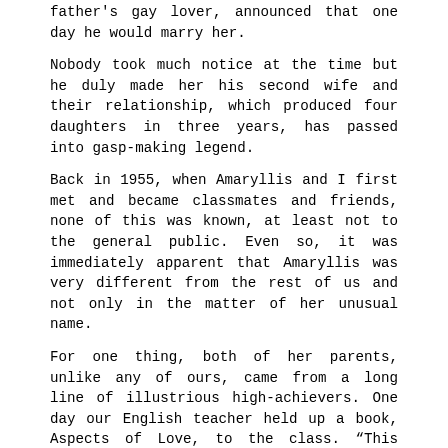father's gay lover, announced that one day he would marry her.
Nobody took much notice at the time but he duly made her his second wife and their relationship, which produced four daughters in three years, has passed into gasp-making legend.
Back in 1955, when Amaryllis and I first met and became classmates and friends, none of this was known, at least not to the general public. Even so, it was immediately apparent that Amaryllis was very different from the rest of us and not only in the matter of her unusual name.
For one thing, both of her parents, unlike any of ours, came from a long line of illustrious high-achievers. One day our English teacher held up a book, Aspects of Love, to the class. “This novel,” he proudly announced, “is by Amaryllis’s father, David Garnett.” The rest of the class stared as Amaryllis squirmed in embarrassment, but she was going to have to get used to it, as there was plenty more to come. Nobody else in the school had a famous